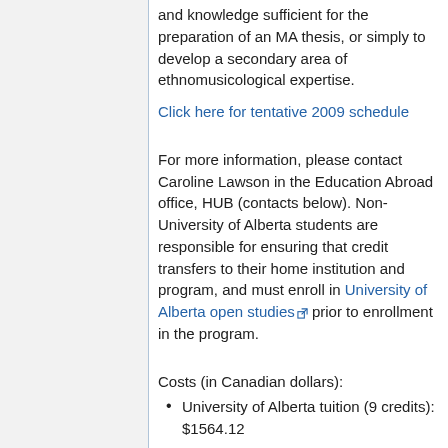and knowledge sufficient for the preparation of an MA thesis, or simply to develop a secondary area of ethnomusicological expertise.
Click here for tentative 2009 schedule
For more information, please contact Caroline Lawson in the Education Abroad office, HUB (contacts below). Non-University of Alberta students are responsible for ensuring that credit transfers to their home institution and program, and must enroll in University of Alberta open studies prior to enrollment in the program.
Costs (in Canadian dollars):
University of Alberta tuition (9 credits): $1564.12